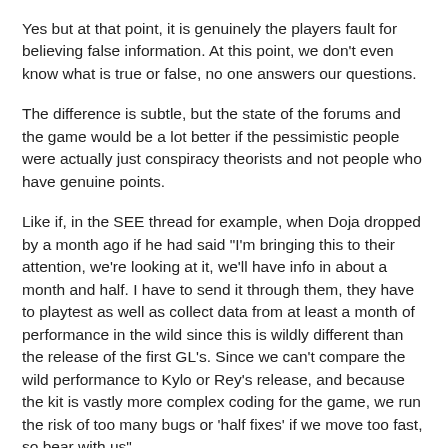Yes but at that point, it is genuinely the players fault for believing false information. At this point, we don't even know what is true or false, no one answers our questions.
The difference is subtle, but the state of the forums and the game would be a lot better if the pessimistic people were actually just conspiracy theorists and not people who have genuine points.
Like if, in the SEE thread for example, when Doja dropped by a month ago if he had said "I'm bringing this to their attention, we're looking at it, we'll have info in about a month and half. I have to send it through them, they have to playtest as well as collect data from at least a month of performance in the wild since this is wildly different than the release of the first GL's. Since we can't compare the wild performance to Kylo or Rey's release, and because the kit is vastly more complex coding for the game, we run the risk of too many bugs or 'half fixes' if we move too fast, so bear with us"
That would be an example of good communication that answers all the questions we asked. On top of that, even if he